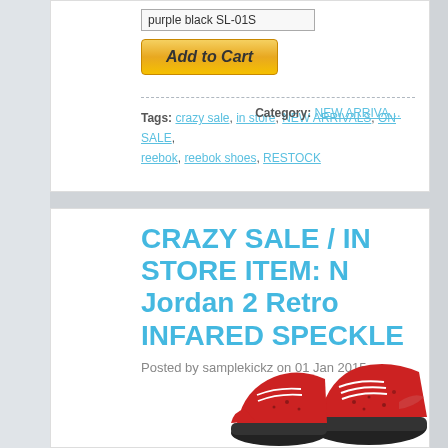purple black SL-01S
Add to Cart
Tags: crazy sale, in store, NEW ARRIVALS, ON SALE, reebok, reebok shoes, RESTOCK   Category: NEW ARRIVALS
CRAZY SALE / IN STORE ITEM: N Jordan 2 Retro INFARED SPECKLE
Posted by samplekickz on 01 Jan 2015
[Figure (photo): Partial view of Jordan 2 Retro Infrared Speckle shoes at bottom right of page]